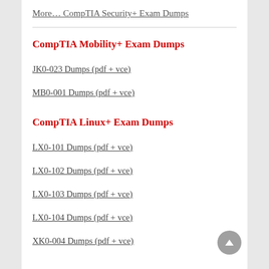More… CompTIA Security+ Exam Dumps
CompTIA Mobility+ Exam Dumps
JK0-023 Dumps (pdf + vce)
MB0-001 Dumps (pdf + vce)
CompTIA Linux+ Exam Dumps
LX0-101 Dumps (pdf + vce)
LX0-102 Dumps (pdf + vce)
LX0-103 Dumps (pdf + vce)
LX0-104 Dumps (pdf + vce)
XK0-004 Dumps (pdf + vce)